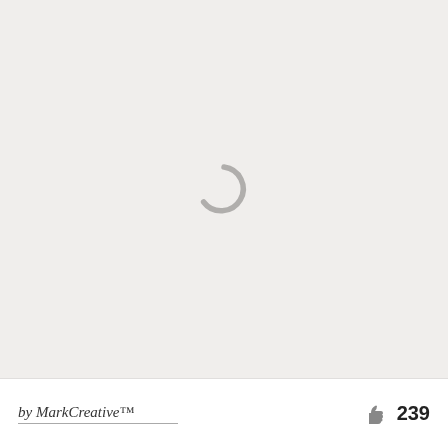[Figure (illustration): A loading spinner icon (grey arc/circle) centered on a light grey background area]
by MarkCreative™   👍 239